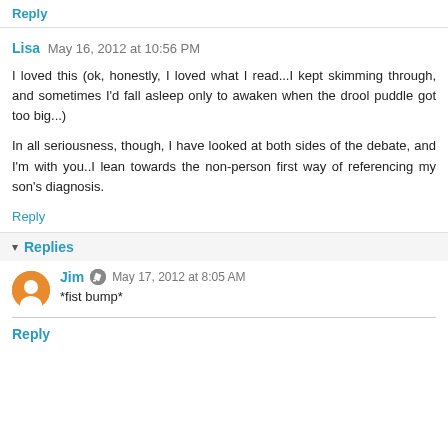Reply
Lisa  May 16, 2012 at 10:56 PM
I loved this (ok, honestly, I loved what I read...I kept skimming through, and sometimes I'd fall asleep only to awaken when the drool puddle got too big...)
In all seriousness, though, I have looked at both sides of the debate, and I'm with you..I lean towards the non-person first way of referencing my son's diagnosis.
Reply
Replies
Jim  May 17, 2012 at 8:05 AM
*fist bump*
Reply